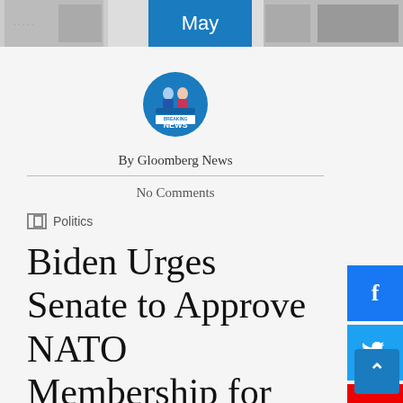[Figure (screenshot): Top image strip showing partial photos with a blue 'May' label overlay in the center]
[Figure (logo): Breaking News circular logo with two news anchor figures on blue background]
By Gloomberg News
No Comments
Politics
Biden Urges Senate to Approve NATO Membership for Finland and Sweden | Politics